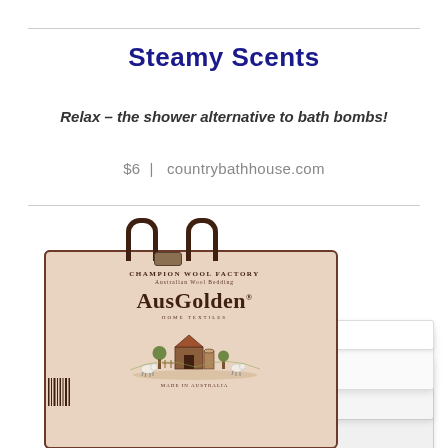Steamy Scents
Relax – the shower alternative to bath bombs!
$6  |  countrybathhouse.com
[Figure (photo): Product photo of an AusGolden Champion Wool Factory Australian Wool Bedding bag (beige with dark brown trim and handles) alongside folded white comforter/blanket layers, on a white background.]